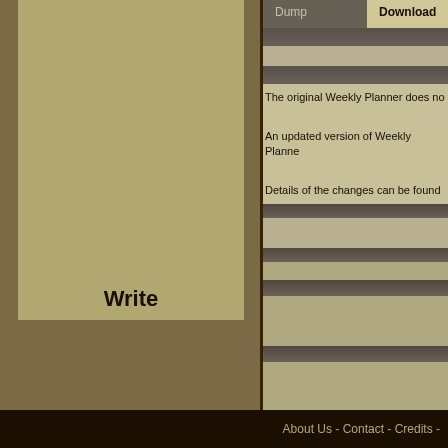Write
Dump | Download
The original Weekly Planner does no
An updated version of Weekly Planne
Details of the changes can be found
About Us - Contact - Credits -